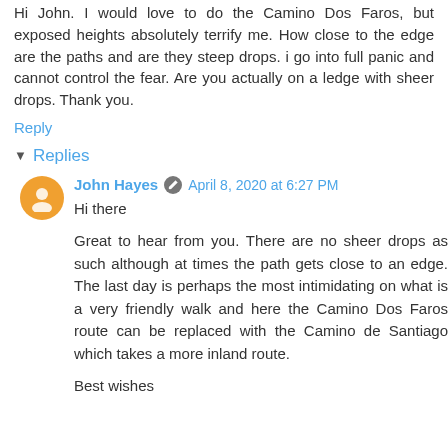Hi John. I would love to do the Camino Dos Faros, but exposed heights absolutely terrify me. How close to the edge are the paths and are they steep drops. i go into full panic and cannot control the fear. Are you actually on a ledge with sheer drops. Thank you.
Reply
Replies
John Hayes   April 8, 2020 at 6:27 PM
Hi there
Great to hear from you. There are no sheer drops as such although at times the path gets close to an edge. The last day is perhaps the most intimidating on what is a very friendly walk and here the Camino Dos Faros route can be replaced with the Camino de Santiago which takes a more inland route.
Best wishes